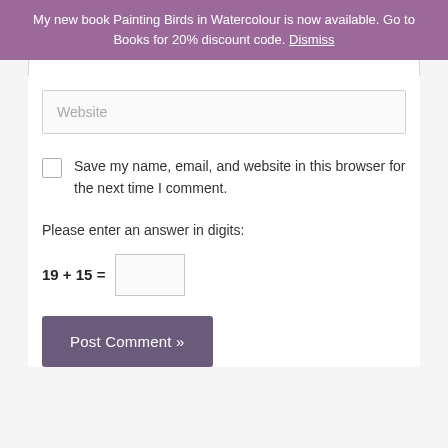My new book Painting Birds in Watercolour is now available. Go to Books for 20% discount code. Dismiss
Website
Save my name, email, and website in this browser for the next time I comment.
Please enter an answer in digits:
Post Comment »